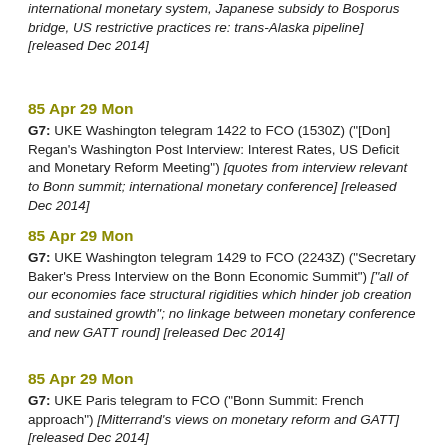international monetary system, Japanese subsidy to Bosporus bridge, US restrictive practices re: trans-Alaska pipeline] [released Dec 2014]
85 Apr 29 Mon
G7: UKE Washington telegram 1422 to FCO (1530Z) ("[Don] Regan's Washington Post Interview: Interest Rates, US Deficit and Monetary Reform Meeting") [quotes from interview relevant to Bonn summit; international monetary conference] [released Dec 2014]
85 Apr 29 Mon
G7: UKE Washington telegram 1429 to FCO (2243Z) ("Secretary Baker's Press Interview on the Bonn Economic Summit") ["all of our economies face structural rigidities which hinder job creation and sustained growth"; no linkage between monetary conference and new GATT round] [released Dec 2014]
85 Apr 29 Mon
G7: UKE Paris telegram to FCO ("Bonn Summit: French approach") [Mitterrand's views on monetary reform and GATT] [released Dec 2014]